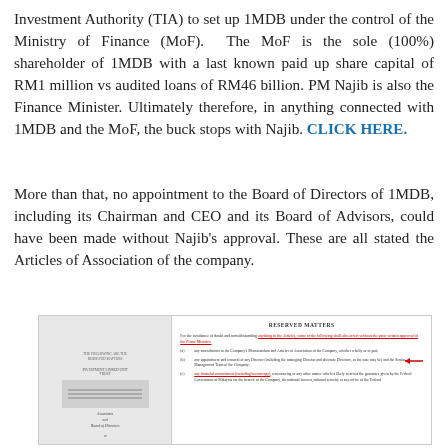Investment Authority (TIA) to set up 1MDB under the control of the Ministry of Finance (MoF). The MoF is the sole (100%) shareholder of 1MDB with a last known paid up share capital of RM1 million vs audited loans of RM46 billion. PM Najib is also the Finance Minister. Ultimately therefore, in anything connected with 1MDB and the MoF, the buck stops with Najib. CLICK HERE.
More than that, no appointment to the Board of Directors of 1MDB, including its Chairman and CEO and its Board of Advisors, could have been made without Najib's approval. These are all stated the Articles of Association of the company.
[Figure (photo): Scanned document image showing two panels: left panel is a partially visible letter/agreement page with signature area and 'Board of Directors' text; right panel shows a section titled 'RESERVED MATTERS' with numbered items (a), (b), (c) listing reserved matters including amendments to Memorandum and Articles of Association, appointment and removal of Directors, and financial commitments highlighted in red underline with a red arrow pointing to the highlighted text.]